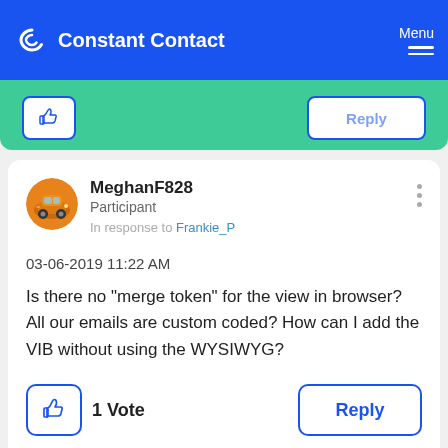Constant Contact  Menu
[Figure (screenshot): Partial green reply card from previous post with like and reply buttons]
MeghanF828
Participant
In response to Frankie_P
03-06-2019 11:22 AM
Is there no "merge token" for the view in browser? All our emails are custom coded? How can I add the VIB without using the WYSIWYG?
1 Vote  Reply